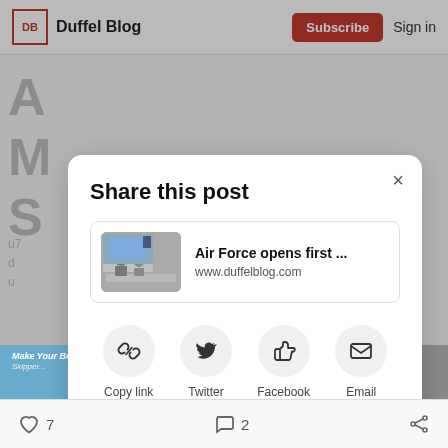DB Duffel Blog | Subscribe | Sign in
[Figure (screenshot): Share this post modal dialog on Duffel Blog with link preview card showing 'Air Force opens first ...' at www.duffelblog.com, and four share options: Copy link, Twitter, Facebook, Email]
7 likes, 2 comments, share